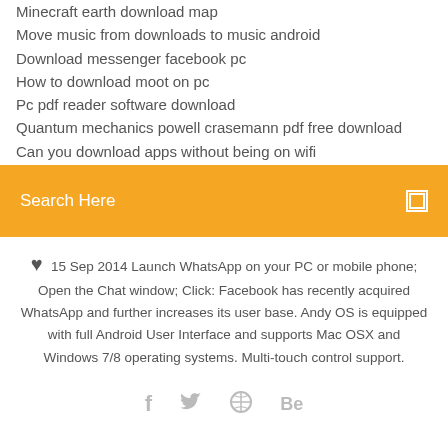Minecraft earth download map
Move music from downloads to music android
Download messenger facebook pc
How to download moot on pc
Pc pdf reader software download
Quantum mechanics powell crasemann pdf free download
Can you download apps without being on wifi
[Figure (screenshot): Orange search bar with 'Search Here' placeholder text and a small square icon on the right]
15 Sep 2014 Launch WhatsApp on your PC or mobile phone; Open the Chat window; Click: Facebook has recently acquired WhatsApp and further increases its user base. Andy OS is equipped with full Android User Interface and supports Mac OSX and Windows 7/8 operating systems. Multi-touch control support.
[Figure (infographic): Social media icons: Facebook (f), Twitter bird, a circular icon, and Behance (Be)]